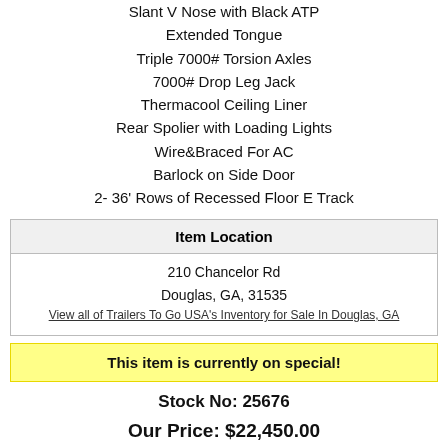Slant V Nose with Black ATP
Extended Tongue
Triple 7000# Torsion Axles
7000# Drop Leg Jack
Thermacool Ceiling Liner
Rear Spolier with Loading Lights
Wire&Braced For AC
Barlock on Side Door
2- 36' Rows of Recessed Floor E Track
| Item Location |
| --- |
| 210 Chancelor Rd
Douglas, GA, 31535
View all of Trailers To Go USA's Inventory for Sale In Douglas, GA |
This item is currently on special!
Stock No: 25676
Our Price: $22,450.00
| Condition: | new |
| --- | --- |